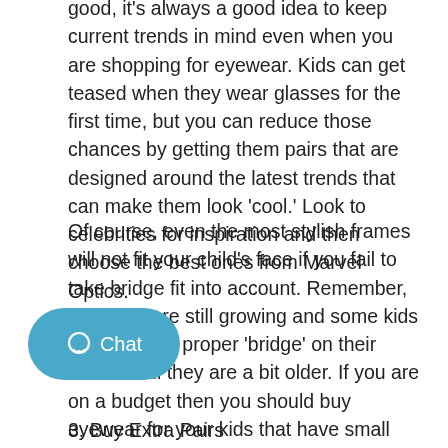good, it's always a good idea to keep current trends in mind even when you are shopping for eyewear. Kids can get teased when they wear glasses for the first time, but you can reduce those chances by getting them pairs that are designed around the latest trends that can make them look 'cool.' Look to celebrities for inspiration and then choose the best ones from Marvel Optics.
Of course, even the most stylish frames will not fit your child's face if you fail to take bridge fit into account. Remember, your kids are still growing and some kids won't have a proper 'bridge' on their noses until they are a bit older. If you are on a budget then you should buy eyewear for your kids that have small bridges or nose pads. This will [prevent] them from sliding off during playtime and [not ha]ve to buy a separate pair either.
3. Buy Extra Pairs